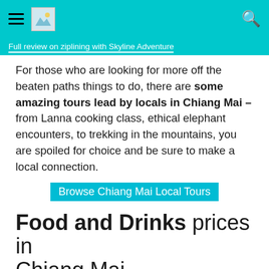Full review on ziplining with Skyline Adventure
For those who are looking for more off the beaten paths things to do, there are some amazing tours lead by locals in Chiang Mai – from Lanna cooking class, ethical elephant encounters, to trekking in the mountains, you are spoiled for choice and be sure to make a local connection.
Browse Chiang Mai Local Tours
Food and Drinks prices in Chiang Mai